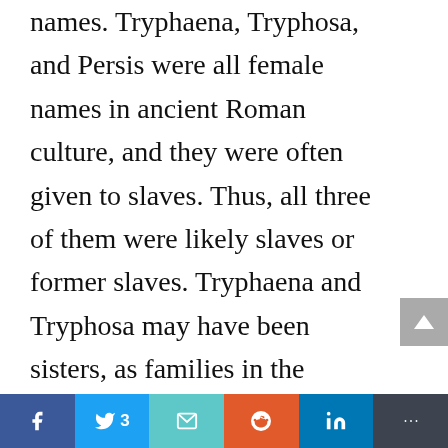names. Tryphaena, Tryphosa, and Persis were all female names in ancient Roman culture, and they were often given to slaves. Thus, all three of them were likely slaves or former slaves. Tryphaena and Tryphosa may have been sisters, as families in the ancient world often gave their children names that were based on the same root, in this case Tryph-. The name Persis comes from the word
[Figure (other): Social share bar with Facebook, Twitter (3), Email, Reddit, LinkedIn, and Bookmark buttons]